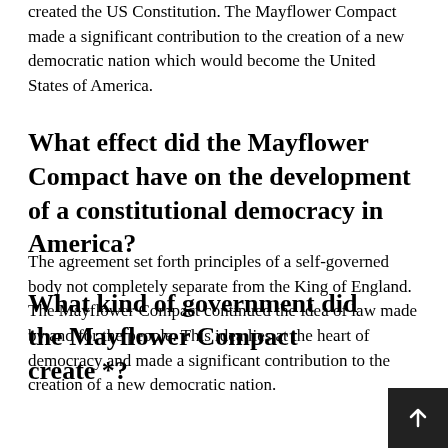created the US Constitution. The Mayflower Compact made a significant contribution to the creation of a new democratic nation which would become the United States of America.
What effect did the Mayflower Compact have on the development of a constitutional democracy in America?
The agreement set forth principles of a self-governed body not completely separate from the King of England. The Mayflower Compact continued the idea of law made by and for the people. This idea lies at the heart of democracy and made a significant contribution to the creation of a new democratic nation.
What kind of government did the Mayflower Compact create *?